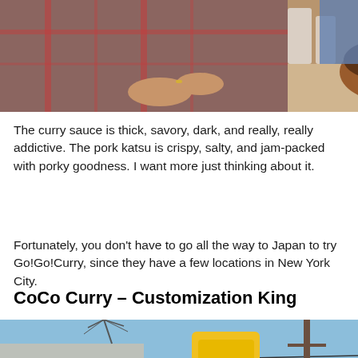[Figure (photo): Photo of a person holding a bowl of food at a restaurant table, with drinks and condiments visible in the background.]
The curry sauce is thick, savory, dark, and really, really addictive. The pork katsu is crispy, salty, and jam-packed with porky goodness. I want more just thinking about it.
Fortunately, you don't have to go all the way to Japan to try Go!Go!Curry, since they have a few locations in New York City.
CoCo Curry – Customization King
[Figure (photo): Photo of a CoCo Curry restaurant exterior with a yellow sign against a blue sky, with utility wires visible.]